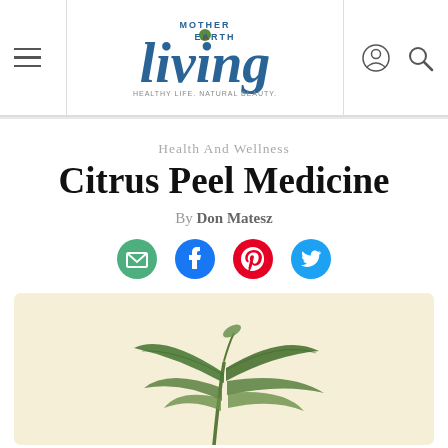Mother Earth Living — Healthy Life. Natural Beauty.
Health And Wellness
Citrus Peel Medicine
By Don Matesz
[Figure (illustration): Botanical illustration of a citrus plant with green leaves on a cream/beige background]
[Figure (infographic): Social sharing icons: email (green), Facebook (blue), Pinterest (red), Twitter (blue)]